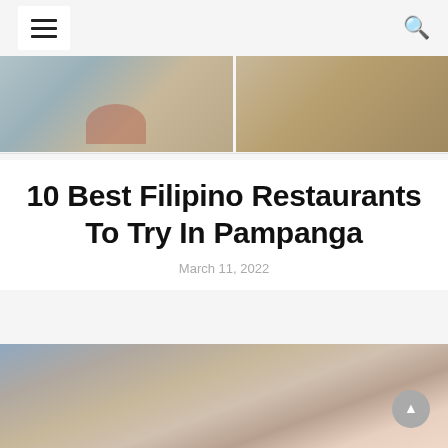Navigation bar with hamburger menu and search icon
[Figure (photo): Two photos side by side: left shows a decorative altar or display with ornate elements and a blue background; right shows a restaurant interior with wooden furniture and tiled floor]
10 Best Filipino Restaurants To Try In Pampanga
March 11, 2022
[Figure (photo): Overhead view of two people lying on a grey bed with bare feet visible, two cups of coffee on white saucers, and a plate of fruits/pastries between them]